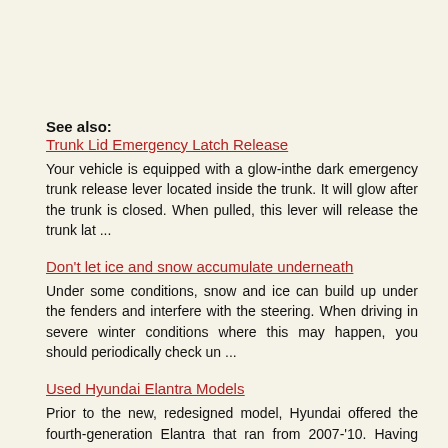See also:
Trunk Lid Emergency Latch Release
Your vehicle is equipped with a glow-inthe dark emergency trunk release lever located inside the trunk. It will glow after the trunk is closed. When pulled, this lever will release the trunk lat ...
Don't let ice and snow accumulate underneath
Under some conditions, snow and ice can build up under the fenders and interfere with the steering. When driving in severe winter conditions where this may happen, you should periodically check un ...
Used Hyundai Elantra Models
Prior to the new, redesigned model, Hyundai offered the fourth-generation Elantra that ran from 2007-'10. Having established the Elantra as a legitimate contender in the compact segment with its p ...